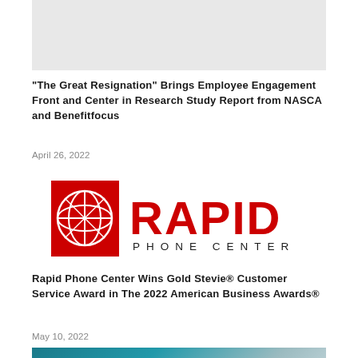[Figure (photo): Gray placeholder image at the top of the page]
“The Great Resignation” Brings Employee Engagement Front and Center in Research Study Report from NASCA and Benefitfocus
April 26, 2022
[Figure (logo): Rapid Phone Center logo — red globe icon with letter R and text RAPID PHONE CENTER in red]
Rapid Phone Center Wins Gold Stevie® Customer Service Award in The 2022 American Business Awards®
May 10, 2022
[Figure (photo): Partial teal/blue photo visible at bottom of page]